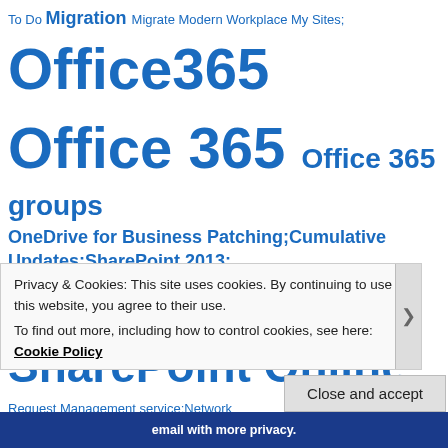To Do Migration Migrate Modern Workplace My Sites; Office365 Office 365 Office 365 groups OneDrive for Business Patching;Cumulative Updates;SharePoint 2013; Powershell; SharePoint Online Request Management service;Network Load balancer; S SCOM; Search; Security and Compliance; Service SharePoint SharePoint 2013;IT Preview; SharePoint2016; SharePoint;SharePoint Server 2016; SharePoint Migration Tool
Privacy & Cookies: This site uses cookies. By continuing to use this website, you agree to their use. To find out more, including how to control cookies, see here: Cookie Policy